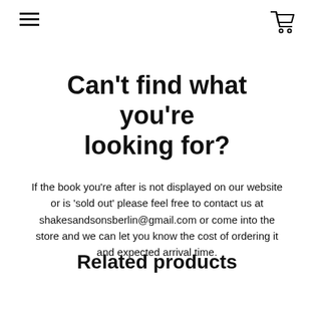[hamburger menu icon] [shopping cart icon]
Can't find what you're looking for?
If the book you're after is not displayed on our website or is 'sold out' please feel free to contact us at shakesandsonsberlin@gmail.com or come into the store and we can let you know the cost of ordering it and expected arrival time.
Related products